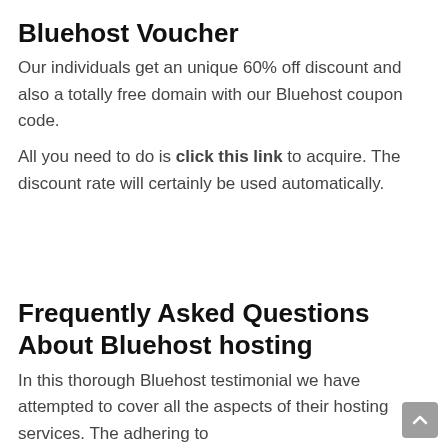Bluehost Voucher
Our individuals get an unique 60% off discount and also a totally free domain with our Bluehost coupon code.
All you need to do is click this link to acquire. The discount rate will certainly be used automatically.
Frequently Asked Questions About Bluehost hosting
In this thorough Bluehost testimonial we have attempted to cover all the aspects of their hosting services. The adhering to